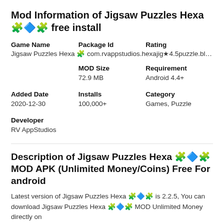Mod Information of Jigsaw Puzzles Hexa 🧩🔷🧩 free install
| Game Name | Package Id | Rating |
| --- | --- | --- |
| Jigsaw Puzzles Hexa 🧩 | com.rvappstudios.hexajig★4.5puzzle.block.gam🧩 |  |
|  | MOD Size | Requirement |
|  | 72.9 MB | Android 4.4+ |
| Added Date | Installs | Category |
| 2020-12-30 | 100,000+ | Games, Puzzle |
| Developer |  |  |
| RV AppStudios |  |  |
Description of Jigsaw Puzzles Hexa 🧩🔷🧩 MOD APK (Unlimited Money/Coins) Free For android
Latest version of Jigsaw Puzzles Hexa 🧩🔷🧩 is 2.2.5, You can download Jigsaw Puzzles Hexa 🧩🔷🧩 MOD Unlimited Money directly on